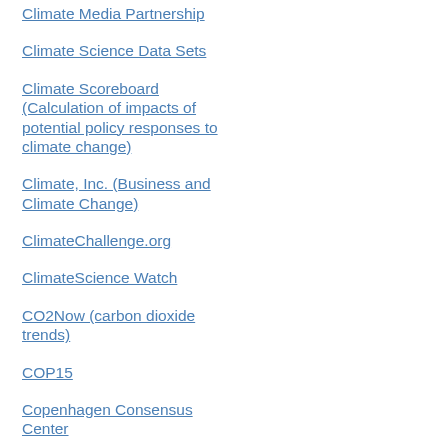Climate Media Partnership
Climate Science Data Sets
Climate Scoreboard (Calculation of impacts of potential policy responses to climate change)
Climate, Inc. (Business and Climate Change)
ClimateChallenge.org
ClimateScience Watch
CO2Now (carbon dioxide trends)
COP15
Copenhagen Consensus Center
EcoEquity
Economics for Equity & the Environment: E3 Network
Environmental Research Web